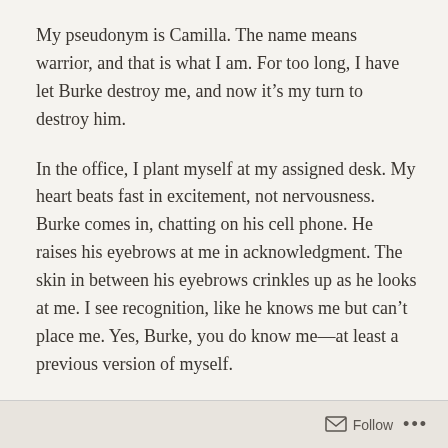My pseudonym is Camilla. The name means warrior, and that is what I am. For too long, I have let Burke destroy me, and now it’s my turn to destroy him.
In the office, I plant myself at my assigned desk. My heart beats fast in excitement, not nervousness. Burke comes in, chatting on his cell phone. He raises his eyebrows at me in acknowledgment. The skin in between his eyebrows crinkles up as he looks at me. I see recognition, like he knows me but can’t place me. Yes, Burke, you do know me—at least a previous version of myself.
He goes into his office. A few minutes later, he pings me. I walk in. I place my whole body up on his desk, and I cross my sleek legs. I tap my foot, and my heel slips on and off. I take in
Follow